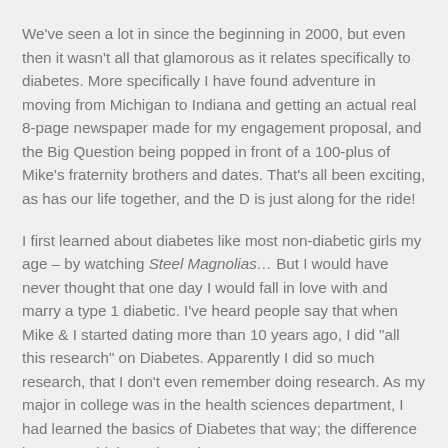We've seen a lot in since the beginning in 2000, but even then it wasn't all that glamorous as it relates specifically to diabetes. More specifically I have found adventure in moving from Michigan to Indiana and getting an actual real 8-page newspaper made for my engagement proposal, and the Big Question being popped in front of a 100-plus of Mike's fraternity brothers and dates. That's all been exciting, as has our life together, and the D is just along for the ride!
I first learned about diabetes like most non-diabetic girls my age – by watching Steel Magnolias… But I would have never thought that one day I would fall in love with and marry a type 1 diabetic. I've heard people say that when Mike & I started dating more than 10 years ago, I did "all this research" on Diabetes. Apparently I did so much research, that I don't even remember doing research. As my major in college was in the health sciences department, I had learned the basics of Diabetes that way; the difference between a high & a low, what